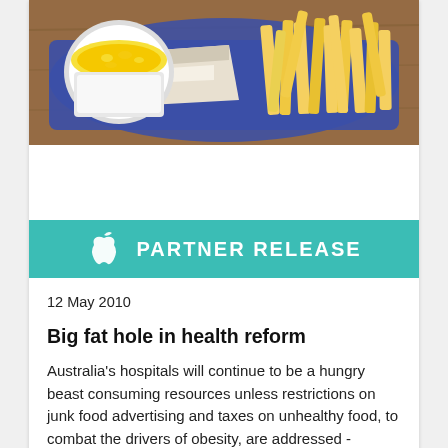[Figure (photo): Overhead photo of fast food on a blue tray: a cup of macaroni and cheese, french fries, and wrapped food items on a wooden surface.]
PARTNER RELEASE
12 May 2010
Big fat hole in health reform
Australia's hospitals will continue to be a hungry beast consuming resources unless restrictions on junk food advertising and taxes on unhealthy food, to combat the drivers of obesity, are addressed - according to Jane Martin, Senior Policy Advisor